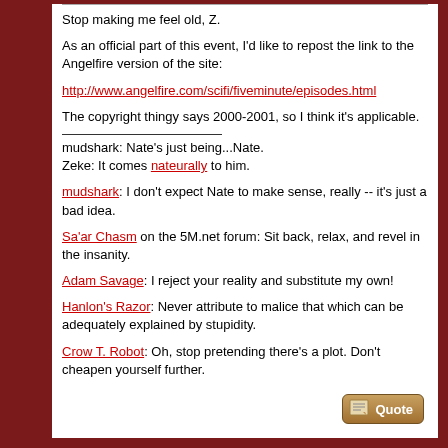Stop making me feel old, Z.
As an official part of this event, I'd like to repost the link to the Angelfire version of the site:
http://www.angelfire.com/scifi/fiveminute/episodes.html
The copyright thingy says 2000-2001, so I think it's applicable.
mudshark: Nate's just being...Nate.
Zeke: It comes nateurally to him.
mudshark: I don't expect Nate to make sense, really -- it's just a bad idea.
Sa'ar Chasm on the 5M.net forum: Sit back, relax, and revel in the insanity.
Adam Savage: I reject your reality and substitute my own!
Hanlon's Razor: Never attribute to malice that which can be adequately explained by stupidity.
Crow T. Robot: Oh, stop pretending there's a plot. Don't cheapen yourself further.